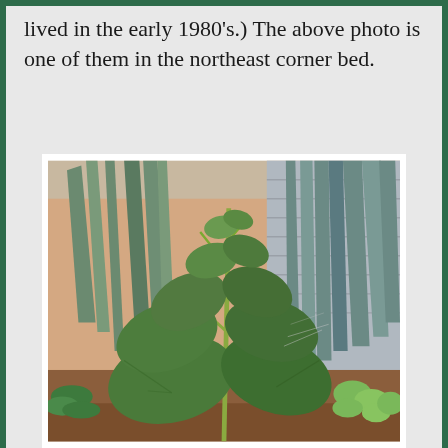lived in the early 1980's.) The above photo is one of them in the northeast corner bed.
[Figure (photo): Outdoor garden photograph showing a tall green leafy plant (possibly a sunflower or similar) with large broad leaves in the foreground, surrounded by tall blue-green iris or similar strap-leaved plants in the background. A peach-colored building wall and some small ground-cover green plants are visible. The ground shows reddish-brown soil.]